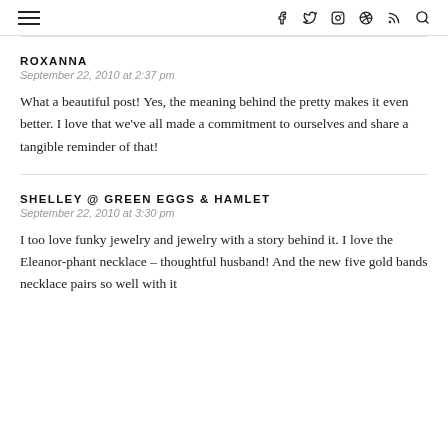☰  f  t  ○  ⊕  )))  🔍
ROXANNA
September 22, 2010 at 2:37 pm
What a beautiful post! Yes, the meaning behind the pretty makes it even better. I love that we've all made a commitment to ourselves and share a tangible reminder of that!
SHELLEY @ GREEN EGGS & HAMLET
September 22, 2010 at 3:30 pm
I too love funky jewelry and jewelry with a story behind it. I love the Eleanor-phant necklace – thoughtful husband! And the new five gold bands necklace pairs so well with it